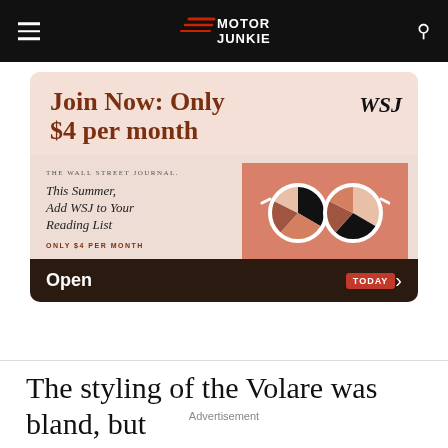Motor Junkie
[Figure (infographic): WSJ advertisement: Join Now: Only $4 per month. The Wall Street Journal. This Summer, Add WSJ to Your Reading List. Only $4 per month. Open Today arrow button. Illustration of sunglasses with pie chart lenses.]
The styling of the Volare was bland, but
Advertisement